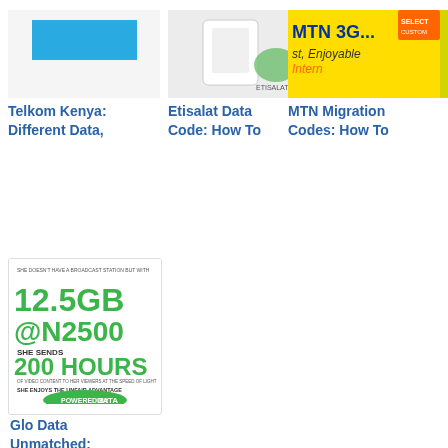[Figure (screenshot): Telkom Kenya data plan article thumbnail with blue rectangle logo]
Telkom Kenya: Different Data,
[Figure (screenshot): Etisalat Data Code article thumbnail showing hand holding white WiFi router with Etisalat logo]
Etisalat Data Code: How To
[Figure (screenshot): MTN Migration Codes article thumbnail with yellow background showing MTN 3G logo and 'Fast, Enjoyable Internet']
MTN Migration Codes: How To
[Figure (screenshot): Partially visible fourth article card with yellow background]
[Figure (screenshot): Glo Data Unmatched advertisement image showing 12.5GB @N2500, 200 HOURS of video content, SHE ENJOYS THE UNFAIR ADVANTAGE, powered by DATA]
Glo Data Unmatched:
TAGS: GLO MORE DATA MORE FUN, GLO MORE GLO MORE DATA MORE FUN CODES, GLO MORE